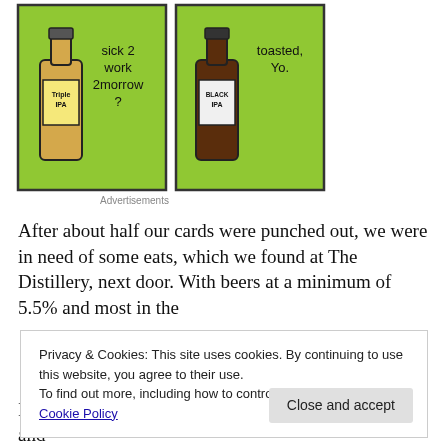[Figure (illustration): Comic strip showing two beer bottles on green backgrounds. Left panel: a bottle labeled 'Triple IPA' with text 'sick 2 work 2morrow ?'. Right panel: a bottle labeled 'Black IPA' with text 'toasted, Yo.']
Advertisements
After about half our cards were punched out, we were in need of some eats, which we found at The Distillery, next door. With beers at a minimum of 5.5% and most in the
Privacy & Cookies: This site uses cookies. By continuing to use this website, you agree to their use.
To find out more, including how to control cookies, see here: Cookie Policy
Close and accept
I've really been getting into IPAs over the last year and